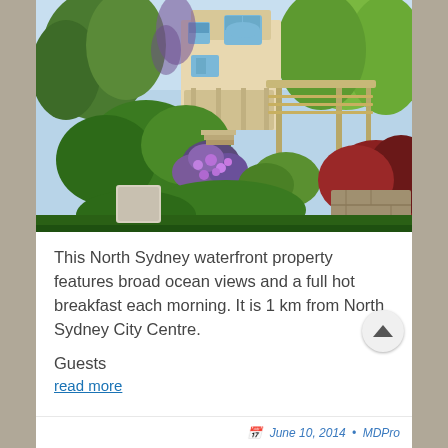[Figure (photo): Exterior photo of a North Sydney waterfront property showing a multi-storey house surrounded by lush gardens with purple flowers, green trees and shrubs, and a pergola structure.]
This North Sydney waterfront property features broad ocean views and a full hot breakfast each morning. It is 1 km from North Sydney City Centre.
Guests
read more
June 10, 2014 • MDPro